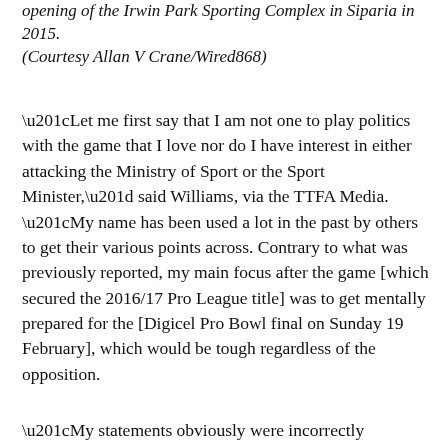opening of the Irwin Park Sporting Complex in Siparia in 2015.
(Courtesy Allan V Crane/Wired868)
“Let me first say that I am not one to play politics with the game that I love nor do I have interest in either attacking the Ministry of Sport or the Sport Minister,” said Williams, via the TTFA Media. “My name has been used a lot in the past by others to get their various points across. Contrary to what was previously reported, my main focus after the game [which secured the 2016/17 Pro League title] was to get mentally prepared for the [Digicel Pro Bowl final on Sunday 19 February], which would be tough regardless of the opposition.
“My statements obviously were incorrectly interpreted. Moving forward my main focus is winning the Pro Bowl then preparing for World Cup qualifiers in March.
“I also hope to do my best so that my name is seen in the media in the future for positive contributions to th…”